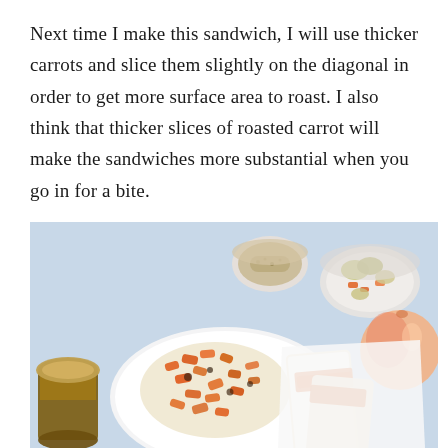Next time I make this sandwich, I will use thicker carrots and slice them slightly on the diagonal in order to get more surface area to roast. I also think that thicker slices of roasted carrot will make the sandwiches more substantial when you go in for a bite.
[Figure (photo): Overhead flat-lay photo on a light blue background showing a white plate with roasted carrot sandwiches (open-faced and cut), small bowl of seeds, small bowl with olives and mixed vegetables, a peach, and a jar of sauce/jam on the left edge.]